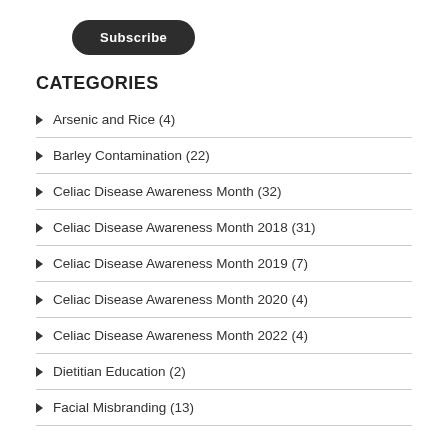[Figure (other): Subscribe button, dark rounded rectangle]
CATEGORIES
Arsenic and Rice (4)
Barley Contamination (22)
Celiac Disease Awareness Month (32)
Celiac Disease Awareness Month 2018 (31)
Celiac Disease Awareness Month 2019 (7)
Celiac Disease Awareness Month 2020 (4)
Celiac Disease Awareness Month 2022 (4)
Dietitian Education (2)
Facial Misbranding (13)